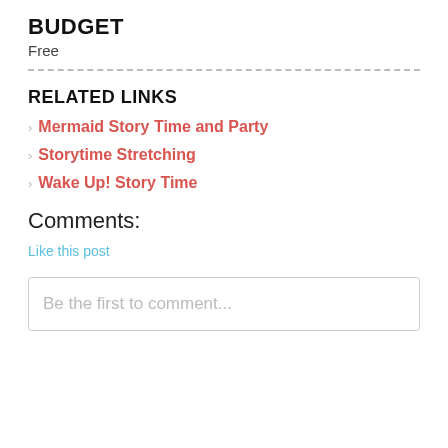BUDGET
Free
RELATED LINKS
Mermaid Story Time and Party
Storytime Stretching
Wake Up! Story Time
Comments:
Like this post
Be the first to comment...